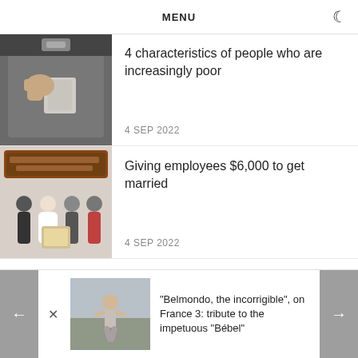MENU
4 characteristics of people who are increasingly poor
4 SEP 2022
Giving employees $6,000 to get married
4 SEP 2022
"Belmondo, the incorrigible", on France 3: tribute to the impetuous "Bébel"